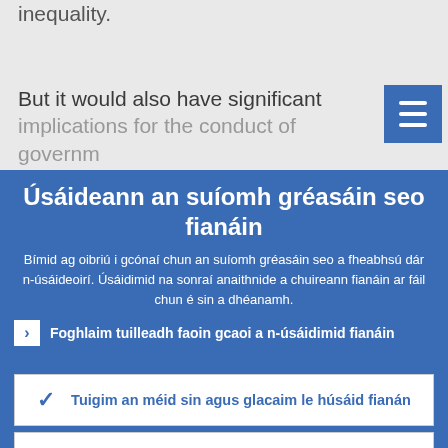inequality.
But it would also have significant implications for the conduct of government
Úsáideann an suíomh gréasáin seo fianáin
Bímid ag oibriú i gcónaí chun an suíomh gréasáin seo a fheabhsú dár n-úsáideoirí. Úsáidimid na sonraí anaithnide a chuireann fianáin ar fáil chun é sin a dhéanamh.
Foghlaim tuilleadh faoin gcaoi a n-úsáidimid fianáin
Tuigim an méid sin agus glacaim le húsáid fianán
Ní ghlacaim le húsáid fianán